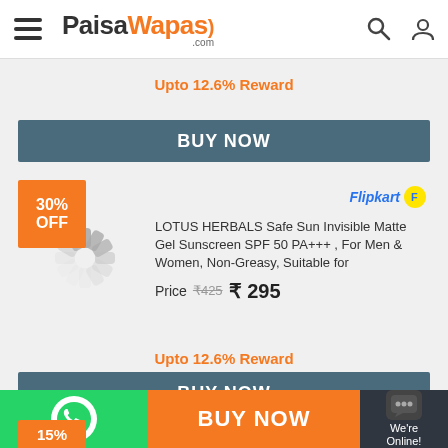PaisaWapas.com
Upto 12.6% Reward
BUY NOW
30% OFF
Flipkart
LOTUS HERBALS Safe Sun Invisible Matte Gel Sunscreen SPF 50 PA+++ , For Men & Women, Non-Greasy, Suitable for
Price  ₹425  ₹295
Upto 12.6% Reward
BUY NOW
15%
Flipkart
BUY NOW  We're Online!